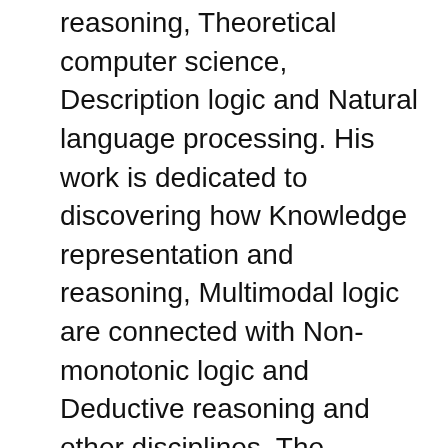reasoning, Theoretical computer science, Description logic and Natural language processing. His work is dedicated to discovering how Knowledge representation and reasoning, Multimodal logic are connected with Non-monotonic logic and Deductive reasoning and other disciplines. The Theoretical computer science study combines topics in areas such as Ontology language, Negation, Time complexity, Modulo and Predicate.
As a part of the same scientific family, he mostly works in the field of Description logic, focusing on Formal language and, on occasion, Soundness, Computational logic, Autoepistemic logic, Philosophy of logic and Syntax. Werner Nutt works mostly in the field of Soundness, limiting it down to topics relating to First-order logic and, in certain cases, Algorithm. His research integrates issues of Semantics and Knowledge base in his study of Programming